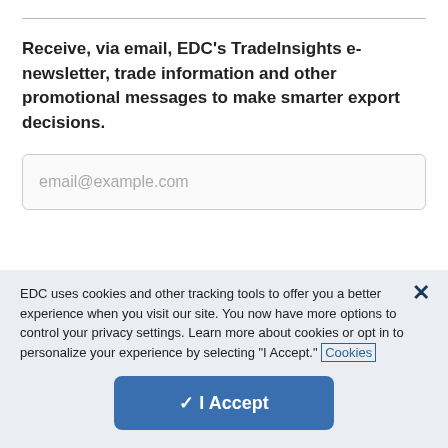Receive, via email, EDC's TradeInsights e-newsletter, trade information and other promotional messages to make smarter export decisions.
email@example.com
EDC uses cookies and other tracking tools to offer you a better experience when you visit our site. You now have more options to control your privacy settings. Learn more about cookies or opt in to personalize your experience by selecting "I Accept." Cookies
✓ I Accept